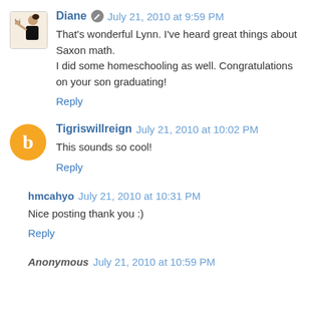Diane · July 21, 2010 at 9:59 PM
That's wonderful Lynn. I've heard great things about Saxon math.
I did some homeschooling as well. Congratulations on your son graduating!
Reply
Tigriswillreign · July 21, 2010 at 10:02 PM
This sounds so cool!
Reply
hmcahyo · July 21, 2010 at 10:31 PM
Nice posting thank you :)
Reply
Anonymous · July 21, 2010 at 10:59 PM